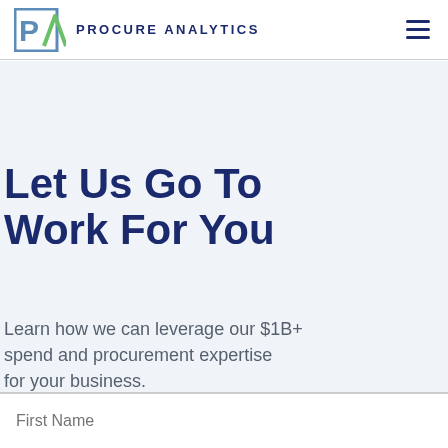PROCURE ANALYTICS
Let Us Go To Work For You
Learn how we can leverage our $1B+ spend and procurement expertise for your business.
First Name